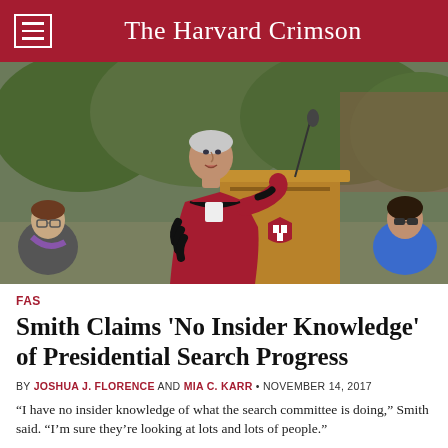The Harvard Crimson
[Figure (photo): A man in a crimson Harvard academic regalia (red robe with black velvet stripes) speaking at a wooden podium with a Harvard shield emblem. An audience is visible in the background including a woman with glasses on the left and a woman in blue on the right. Outdoors with green trees in background.]
FAS
Smith Claims ‘No Insider Knowledge’ of Presidential Search Progress
BY JOSHUA J. FLORENCE AND MIA C. KARR • NOVEMBER 14, 2017
“I have no insider knowledge of what the search committee is doing,” Smith said. “I’m sure they’re looking at lots and lots of people.”